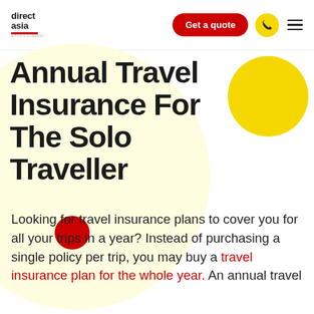direct asia | Get a quote
Annual Travel Insurance For The Solo Traveller
Looking for travel insurance plans to cover you for all your trips in a year? Instead of purchasing a single policy per trip, you may buy a travel insurance plan for the whole year. An annual travel